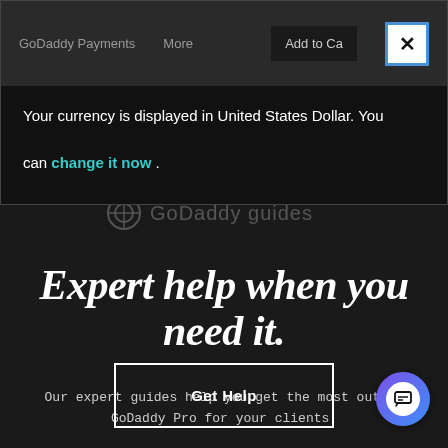[Figure (screenshot): GoDaddy website navigation bar with 'GoDaddy Payments', 'More' links, 'Add to Cart' button, and a white X close button with blue border]
Your currency is displayed in United States Dollar. You can change it now .
[Figure (logo): GoDaddy guides watermark logo, semi-transparent]
Expert help when you need it.
Our expert guides help you get the most out of GoDaddy Pro for your clients.
[Figure (screenshot): Get Help button with white border on dark background]
[Figure (other): Circular chat bubble button with gradient purple-blue background and white chat icon]